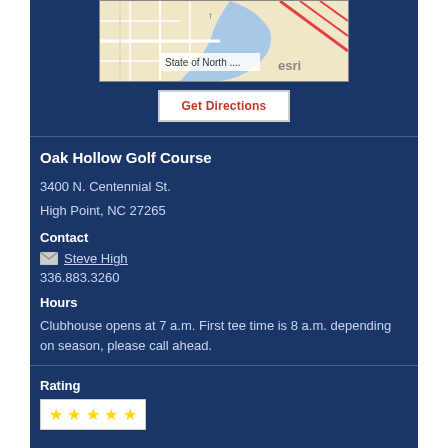[Figure (map): Street map showing North Carolina area with 'State of North...' label and esri watermark]
Get Directions
Oak Hollow Golf Course
3400 N. Centennial St.
High Point, NC 27265
Contact
Steve High
336.883.3260
Hours
Clubhouse opens at 7 a.m. First tee time is 8 a.m. depending on season, please call ahead.
Rating
[Figure (other): 5 gold/grey stars rating widget on white background]